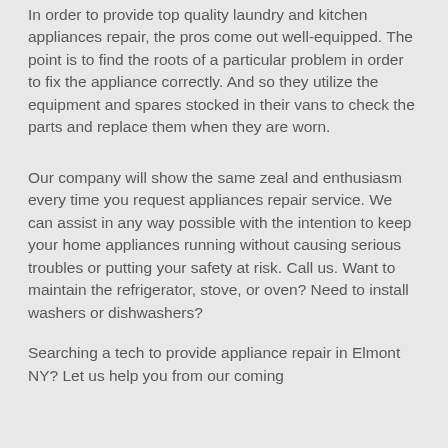In order to provide top quality laundry and kitchen appliances repair, the pros come out well-equipped. The point is to find the roots of a particular problem in order to fix the appliance correctly. And so they utilize the equipment and spares stocked in their vans to check the parts and replace them when they are worn.
Our company will show the same zeal and enthusiasm every time you request appliances repair service. We can assist in any way possible with the intention to keep your home appliances running without causing serious troubles or putting your safety at risk. Call us. Want to maintain the refrigerator, stove, or oven? Need to install washers or dishwashers?
Searching a tech to provide appliance repair in Elmont NY? Let us help you from our coming